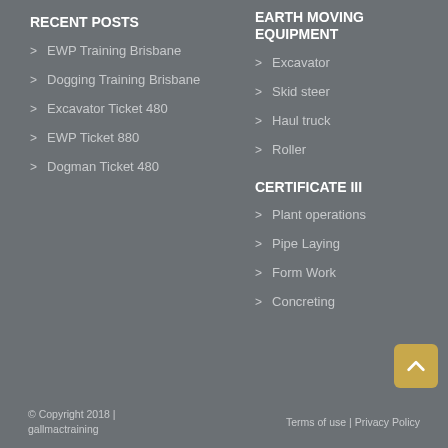RECENT POSTS
EWP Training Brisbane
Dogging Training Brisbane
Excavator Ticket 480
EWP Ticket 880
Dogman Ticket 480
EARTH MOVING EQUIPMENT
Excavator
Skid steer
Haul truck
Roller
CERTIFICATE III
Plant operations
Pipe Laying
Form Work
Concreting
© Copyright 2018 | gallmactraining   Terms of use | Privacy Policy